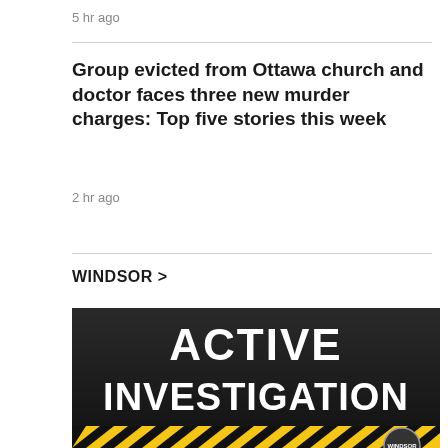5 hr ago
Group evicted from Ottawa church and doctor faces three new murder charges: Top five stories this week
2 hr ago
WINDSOR >
[Figure (photo): Dark background image with bold white text reading 'ACTIVE INVESTIGATION', yellow and black caution tape stripe at the bottom, and a Windsor logo badge at lower right.]